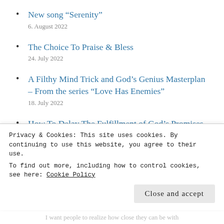New song “Serenity”
6. August 2022
The Choice To Praise & Bless
24. July 2022
A Filthy Mind Trick and God’s Genius Masterplan – From the series “Love Has Enemies”
18. July 2022
How To Delay The Fulfillment of God’s Promises
11. July 2022
Are You Struggling With Lust?
Privacy & Cookies: This site uses cookies. By continuing to use this website, you agree to their use.
To find out more, including how to control cookies, see here: Cookie Policy
Close and accept
I want people to realize how close they can be with